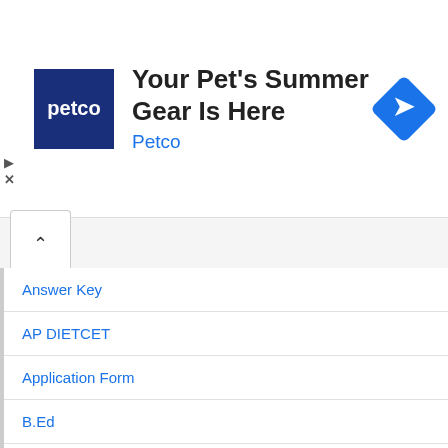[Figure (screenshot): Petco advertisement banner with logo, tagline 'Your Pet's Summer Gear Is Here', 'Petco' subtitle, and blue diamond arrow icon]
Answer Key
AP DIETCET
Application Form
B.Ed
BMRCL
BSTC (D.El.Ed)
CCC
Current Affairs
Cut-Off
Day Wise Current Affairs
DMRC